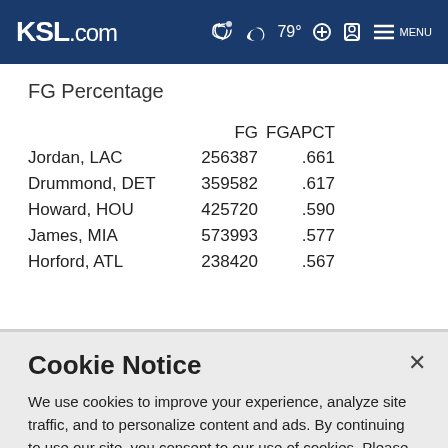KSL.com  79° MENU
FG Percentage
|  | FG | FGAPCT |
| --- | --- | --- |
| Jordan, LAC | 256387 | .661 |
| Drummond, DET | 359582 | .617 |
| Howard, HOU | 425720 | .590 |
| James, MIA | 573993 | .577 |
| Horford, ATL | 238420 | .567 |
Cookie Notice
We use cookies to improve your experience, analyze site traffic, and to personalize content and ads. By continuing to use our site, you consent to our use of cookies. Please visit our Terms of Use and  Privacy Policy for more information.
Continue